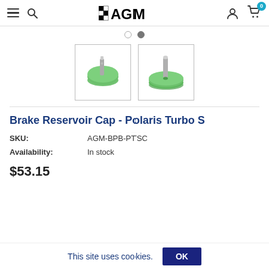AGM - navigation header with menu, search, logo, user and cart icons
[Figure (photo): Two thumbnail images of a green Brake Reservoir Cap with metal screw post: left image shows an angled side view, right image shows a top-down view]
Brake Reservoir Cap - Polaris Turbo S
SKU: AGM-BPB-PTSC
Availability: In stock
$53.15
This site uses cookies. OK